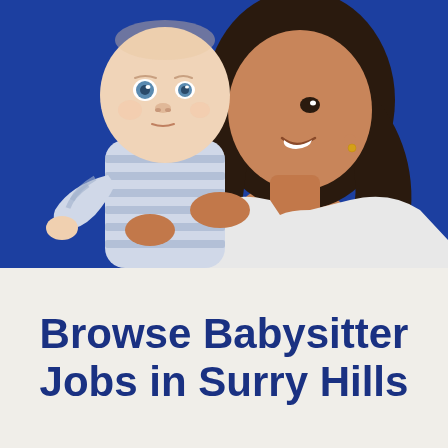[Figure (photo): A smiling woman with long curly dark hair wearing a white sleeveless top, holding a baby dressed in a blue and white striped onesie. The baby has light skin and blue eyes and is looking upward. The background is a deep royal blue.]
Browse Babysitter Jobs in Surry Hills